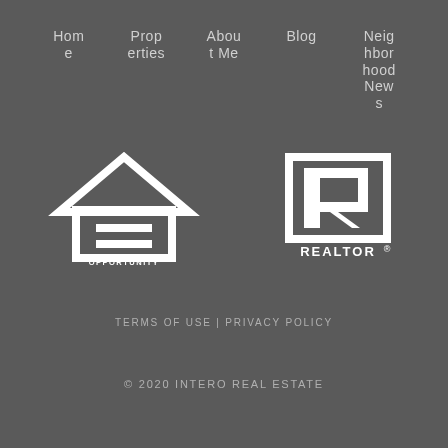Home
Properties
About Me
Blog
Neighborhood News
[Figure (logo): Equal Housing Opportunity logo — white house outline with equal sign, text EQUAL HOUSING OPPORTUNITY below]
[Figure (logo): REALTOR logo — white R symbol in rectangle with REALTOR text below]
TERMS OF USE | PRIVACY POLICY
© 2020 INTERO REAL ESTATE